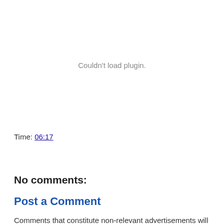Couldn't load plugin.
Time: 06:17
Share
No comments:
Post a Comment
Comments that constitute non-relevant advertisements will be declined, as will those